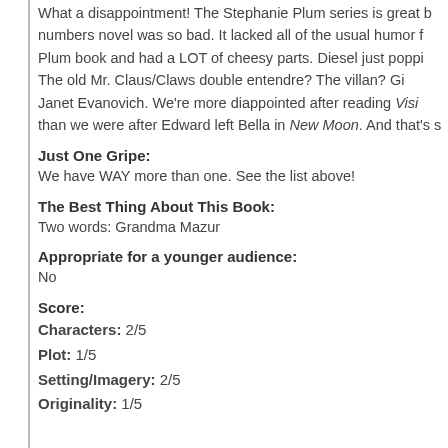What a disappointment! The Stephanie Plum series is great but this between the numbers novel was so bad. It lacked all of the usual humor found in a Plum book and had a LOT of cheesy parts. Diesel just popping in? The old Mr. Claus/Claws double entendre? The villan? Give us a break Janet Evanovich. We're more diappointed after reading Visions of Sugar Plums than we were after Edward left Bella in New Moon. And that's saying a lot.
Just One Gripe:
We have WAY more than one. See the list above!
The Best Thing About This Book:
Two words: Grandma Mazur
Appropriate for a younger audience:
No
Score:
Characters: 2/5
Plot: 1/5
Setting/Imagery: 2/5
Originality: 1/5